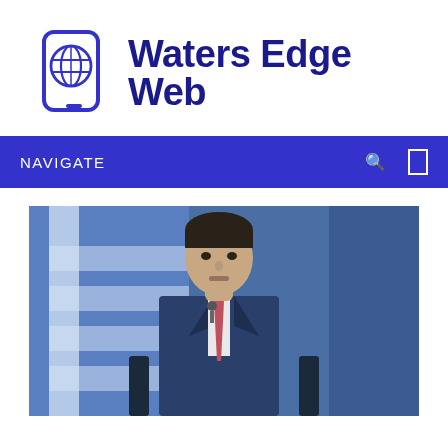[Figure (logo): Waters Edge Web logo with a smartphone and globe icon on the left and bold dark blue text 'Waters Edge Web' on the right]
NAVIGATE
[Figure (photo): A man in a dark blue suit with a pink/salmon tie speaking at a microphone, with Greek flags visible in the background]